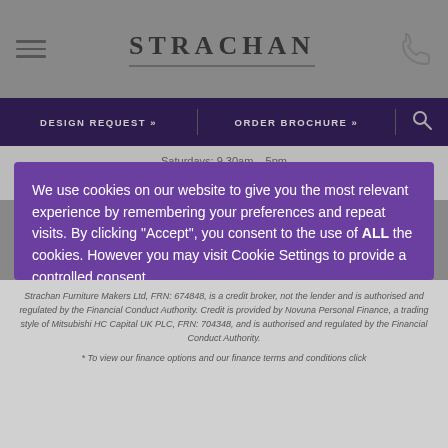STRACHAN
DESIGN REQUEST »  |  ORDER BROCHURE »
Saturdays: 9.30am – 5pm
Sundays and Bank Holidays: 10am – 4pm
We use cookies on our website to give you the most relevant experience by remembering your preferences and repeat visits. By clicking "Accept", you consent to the use of ALL the cookies. However you may visit Cookie Settings to provide a controlled consent.
Cookie settings  ACCEPT
Strachan Furniture Makers Ltd, FRN: 674848, is a credit broker, not the lender and is authorised and regulated by the Financial Conduct Authority. Credit is provided by Novuna Personal Finance, a trading style of Mitsubishi HC Capital UK PLC, FRN: 704348, and is authorised and regulated by the Financial Conduct Authority.
* To view our finance options and our finance terms and conditions click